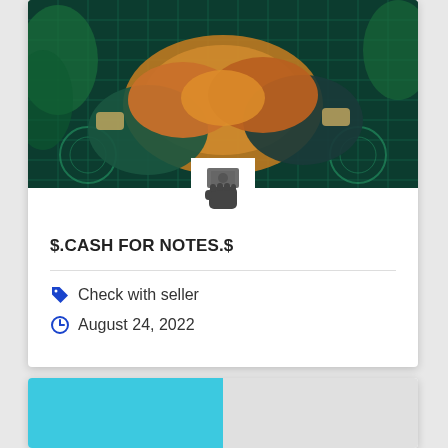[Figure (photo): Two hands shaking against a dark teal digital/matrix background with glowing circuit patterns]
[Figure (illustration): Dark gray icon of a hand holding money/cash bills]
$.CASH FOR NOTES.$
Check with seller
August 24, 2022
[Figure (photo): Partially visible card below with two image panels — left teal/blue, right grayscale]